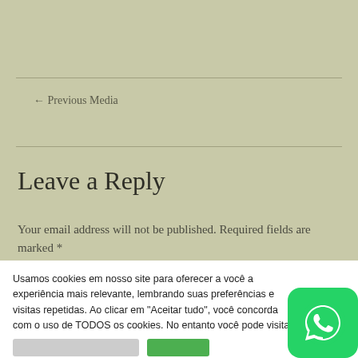← Previous Media
Leave a Reply
Your email address will not be published. Required fields are marked *
Usamos cookies em nosso site para oferecer a você a experiência mais relevante, lembrando suas preferências e visitas repetidas. Ao clicar em "Aceitar tudo", você concorda com o uso de TODOS os cookies. No entanto você pode visitar "Configurações de cookies" para fornecer um consentimento controlado.